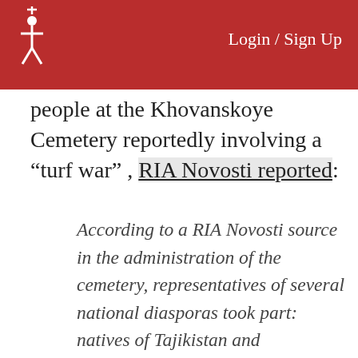Login / Sign Up
people at the Khovanskoye Cemetery reportedly involving a “turf war” , RIA Novosti reported:
According to a RIA Novosti source in the administration of the cemetery, representatives of several national diasporas took part: natives of Tajikistan and Uzbekistan who work as maintenance personnel at the cemetery, defended the territory: